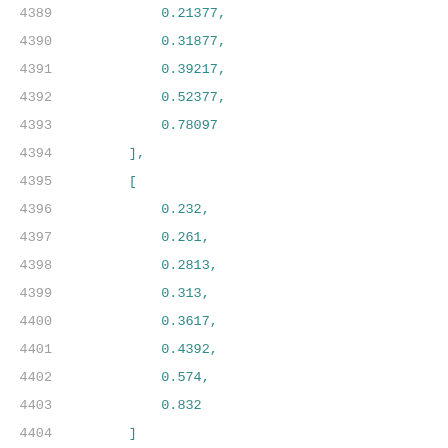4389    0.21377,
4390    0.31877,
4391    0.39217,
4392    0.52377,
4393    0.78097
4394    ],
4395    [
4396        0.232,
4397        0.261,
4398        0.2813,
4399        0.313,
4400        0.3617,
4401        0.4392,
4402        0.574,
4403        0.832
4404    ]
4405    ]
4406    },
4407    "cell_rise,delay_template13x8": {
4408        "index_1": [
4409            0.01,
4410            0.01735,